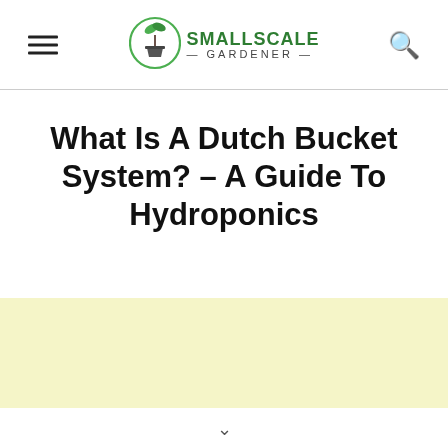SmallScale Gardener — navigation header with hamburger menu, logo, and search icon
What Is A Dutch Bucket System? – A Guide To Hydroponics
[Figure (other): Light yellow advertisement/banner block]